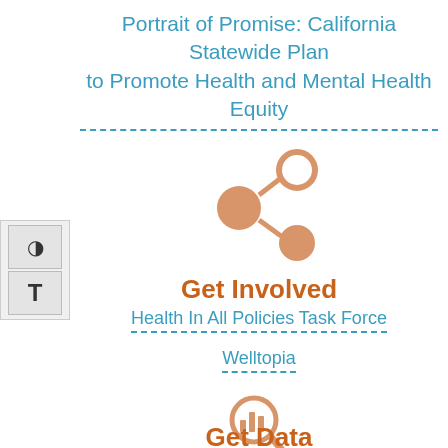Portrait of Promise: California Statewide Plan to Promote Health and Mental Health Equity
[Figure (illustration): Share/network icon with three connected circles — salmon/peach colored, center node on left connected to upper-right hollow circle and lower-right filled circle]
Get Involved
Health In All Policies Task Force
Welltopia
[Figure (illustration): Magnifying glass icon with bar chart inside lens — salmon/peach colored]
Get Data